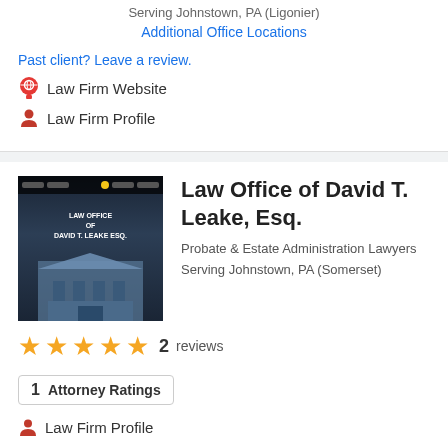Serving Johnstown, PA (Ligonier)
Additional Office Locations
Past client? Leave a review.
Law Firm Website
Law Firm Profile
Law Office of David T. Leake, Esq.
Probate & Estate Administration Lawyers
Serving Johnstown, PA (Somerset)
★★★★★  2  reviews
1  Attorney Ratings
Law Firm Profile